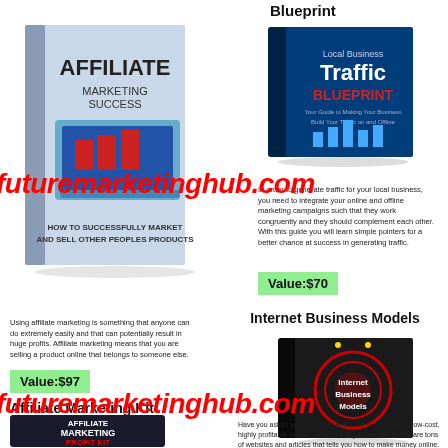[Figure (illustration): Book cover: Affiliate Marketing Success - How to Successfully Market and Sell Other Peoples Products]
Blueprint
[Figure (illustration): Book cover: Local Business Traffic Blueprint]
In order to generate traffic for your local business, you need to integrate your online and offline marketing campaigns such that they work congruently and they should complement each other. With this guide you will learn simple pointers for a better chance at success in generating traffic.
Value:$70
Using affiliate marketing is something that anyone can do extremely easily and that can potentially result in huge profits. Affiliate marketing means that you are selling a product online that belongs to someone else.
Value:$97
Affiliate Marketing Kit
[Figure (illustration): Book cover: Affiliate Marketing Profit Kit]
Internet Business Models
[Figure (illustration): Book cover: Internet Business Models]
Have you asked yourself, what are some of the easiest, low-cost, highly profitable online business that you can do? There are tons of websites and articles that tells you how to make money online. To went through and learn each of the models is already a daunting task on its own. Here are the 4 of the Best Internet Business Models that you can pursue and make a good income from. They are legitimate, low risk, low cost, easy to start, yet is highly
futuremarketinghub.com
futuremarketinghub.com